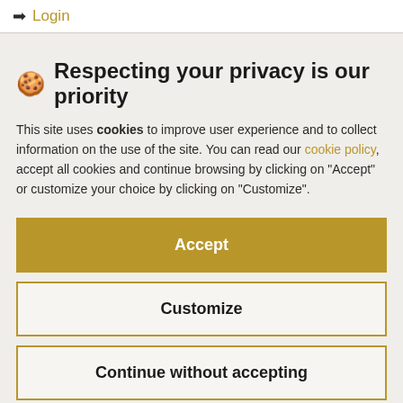➡ Login
🍪 Respecting your privacy is our priority
This site uses cookies to improve user experience and to collect information on the use of the site. You can read our cookie policy, accept all cookies and continue browsing by clicking on "Accept" or customize your choice by clicking on "Customize".
Accept
Customize
Continue without accepting